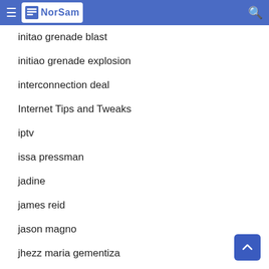NorSam
initao grenade blast
initiao grenade explosion
interconnection deal
Internet Tips and Tweaks
iptv
issa pressman
jadine
james reid
jason magno
jhezz maria gementiza
Jollibee
Kauswagan Caravan